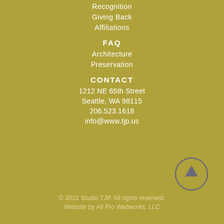Recognition
Giving Back
Affiliations
FAQ
Architecture
Preservation
CONTACT
1212 NE 65th Street
Seattle, WA 98115
206.523.1618
info@www.tjp.us
[Figure (illustration): Circle button with upward arrow icon for back-to-top navigation]
© 2022 Studio TJP. All rights reserved.
Website by All Pro Webworks, LLC